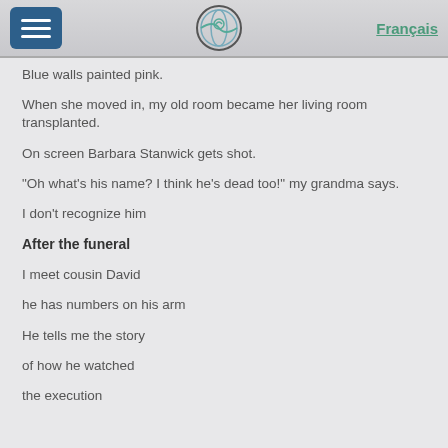Français
Blue walls painted pink.
When she moved in, my old room became her living room transplanted.
On screen Barbara Stanwick gets shot.
“Oh what’s his name? I think he’s dead too!” my grandma says.
I don’t recognize him
After the funeral
I meet cousin David
he has numbers on his arm
He tells me the story
of how he watched
the execution